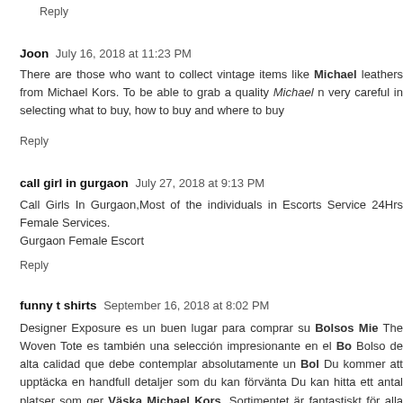Reply
Joon  July 16, 2018 at 11:23 PM
There are those who want to collect vintage items like Michael leathers from Michael Kors. To be able to grab a quality Michael n very careful in selecting what to buy, how to buy and where to buy
Reply
call girl in gurgaon  July 27, 2018 at 9:13 PM
Call Girls In Gurgaon,Most of the individuals in Escorts Service 24Hrs Female Services.
Gurgaon Female Escort
Reply
funny t shirts  September 16, 2018 at 8:02 PM
Designer Exposure es un buen lugar para comprar su Bolsos Mie The Woven Tote es también una selección impresionante en el Bo Bolso de alta calidad que debe contemplar absolutamente un Bol Du kommer att upptäcka en handfull detaljer som du kan förvänta Du kan hitta ett antal platser som ger Väska Michael Kors. Sortimentet är fantastiskt för alla som letar after en MK Väska